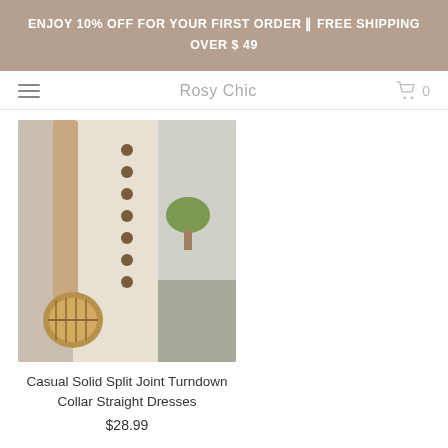ENJOY 10% OFF FOR YOUR FIRST ORDER || FREE SHIPPING OVER $ 49
Rosy Chic
[Figure (photo): Woman wearing a beige/cream casual button-front split straight dress, holding a wicker basket bag, outdoor setting.]
Casual Solid Split Joint Turndown Collar Straight Dresses
$28.99